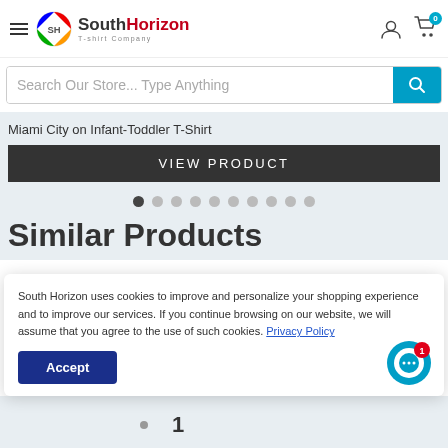[Figure (screenshot): SouthHorizon T-shirt Company website header with hamburger menu, logo, user icon, and cart icon showing 0 items]
[Figure (screenshot): Search bar with placeholder text 'Search Our Store... Type Anything' and a teal search button]
Miami City on Infant-Toddler T-Shirt
[Figure (screenshot): Dark 'VIEW PRODUCT' button]
[Figure (screenshot): Carousel dot indicators, 10 dots with the first one active]
Similar Products
South Horizon uses cookies to improve and personalize your shopping experience and to improve our services. If you continue browsing on our website, we will assume that you agree to the use of such cookies. Privacy Policy
[Figure (screenshot): Accept button (navy blue) and chat bubble icon with notification badge showing 1]